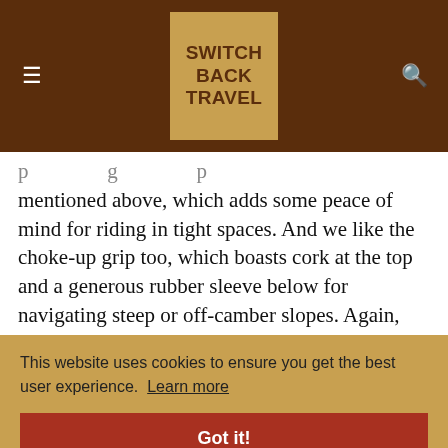SWITCH BACK TRAVEL
...p...g...p... mentioned above, which adds some peace of mind for riding in tight spaces. And we like the choke-up grip too, which boasts cork at the top and a generous rubber sleeve below for navigating steep or off-camber slopes. Again, you can save significantly with a more basic aluminum option like the G3 Via Aluminum above, but the Scott's ...ealing
This website uses cookies to ensure you get the best user experience. Learn more
Got it!
6. Leki TourStick Vario Carbon V ($200)